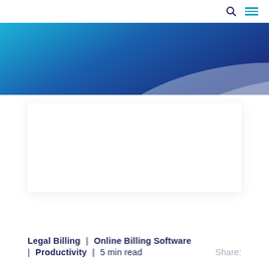[Figure (illustration): Blue gradient hero banner with diagonal sweep from cyan/light blue on the left to deep navy blue on the right, with a light grey/white curved shape overlay at the bottom right]
[Figure (illustration): White card/box content placeholder area with light drop shadow]
Legal Billing | Online Billing Software | Productivity | 5 min read   Share: